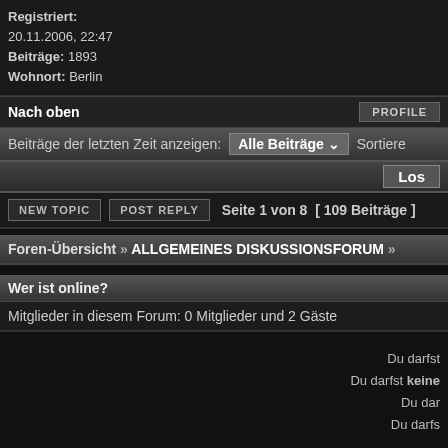Registriert: 20.11.2006, 22:47 Beiträge: 1893 Wohnort: Berlin
Nach oben | PROFILE
Beiträge der letzten Zeit anzeigen: Alle Beiträge ▾ Sortiere
Los
NEW TOPIC  POST REPLY  Seite 1 von 8  [ 109 Beiträge ]
Foren-Übersicht » ALLGEMEINES DISKUSSIONSFORUM »
Wer ist online?
Mitglieder in diesem Forum: 0 Mitglieder und 2 Gäste
Du darfst
Du darfst keine
Du dar
Du darfs